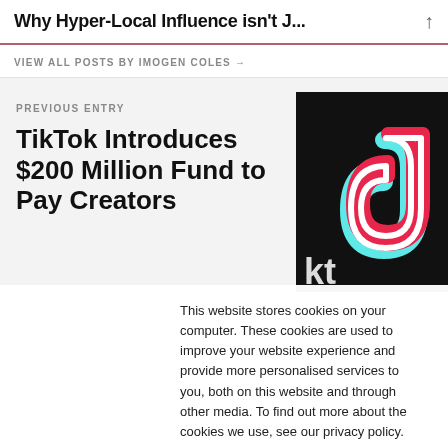Why Hyper-Local Influence isn't J…
VIEW ALL POSTS BY IMOGEN COLES →
PREVIOUS ENTRY
TikTok Introduces $200 Million Fund to Pay Creators
[Figure (photo): TikTok logo on a black background, close-up showing the distinctive musical note/infinity symbol in cyan, pink, and white colors, with partial 'kt' text visible]
This website stores cookies on your computer. These cookies are used to improve your website experience and provide more personalised services to you, both on this website and through other media. To find out more about the cookies we use, see our privacy policy.
Manage Cookies   Allow all   Decline